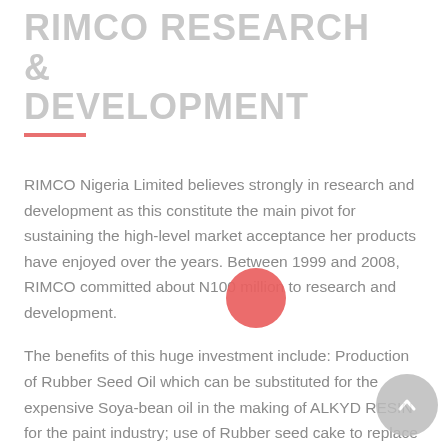RIMCO RESEARCH & DEVELOPMENT
RIMCO Nigeria Limited believes strongly in research and development as this constitute the main pivot for sustaining the high-level market acceptance her products have enjoyed over the years. Between 1999 and 2008, RIMCO committed about N100 million to research and development.
The benefits of this huge investment include: Production of Rubber Seed Oil which can be substituted for the expensive Soya-bean oil in the making of ALKYD RESIN for the paint industry; use of Rubber seed cake to replace part of the palm oil and palm kernel oil for soap production; and use of Bleaching earth for soap